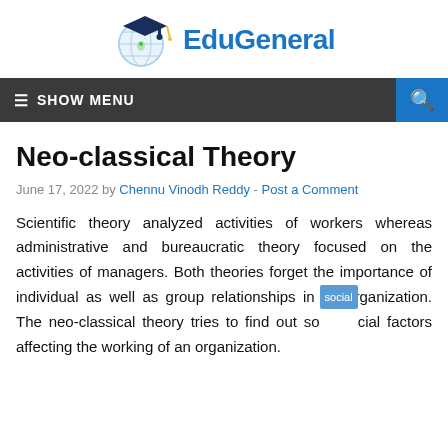[Figure (logo): EduGeneral logo with globe and graduation cap icon and blue text 'EduGeneral']
☰ SHOW MENU
Neo-classical Theory
June 17, 2022 by Chennu Vinodh Reddy - Post a Comment
Scientific theory analyzed activities of workers whereas administrative and bureaucratic theory focused on the activities of managers. Both theories forget the importance of individual as well as group relationships in an organization. The neo-classical theory tries to find out social factors affecting the working of an organization.